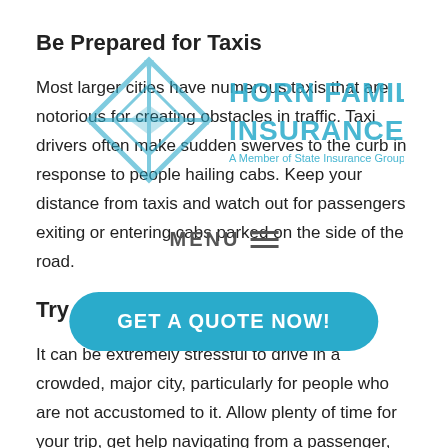Be Prepared for Taxis
[Figure (logo): Horn Family Insurance logo with diamond geometric symbol and text 'HORN FAMILY INSURANCE - A Member of State Insurance Group']
Most larger cities have numerous taxis that are notorious for creating obstacles in traffic. Taxi drivers often make sudden swerves to the curb in response to people hailing cabs. Keep your distance from taxis and watch out for passengers exiting or entering cabs parked on the side of the road.
[Figure (other): MENU button with hamburger icon lines]
[Figure (other): GET A QUOTE NOW! call-to-action button in teal/blue rounded rectangle]
Try to Remain Calm
It can be extremely stressful to drive in a crowded, major city, particularly for people who are not accustomed to it. Allow plenty of time for your trip, get help navigating from a passenger, and take a